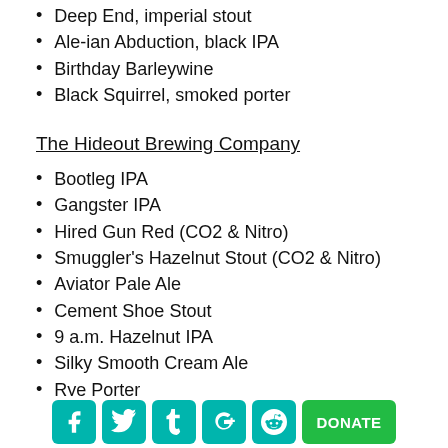Deep End, imperial stout
Ale-ian Abduction, black IPA
Birthday Barleywine
Black Squirrel, smoked porter
The Hideout Brewing Company
Bootleg IPA
Gangster IPA
Hired Gun Red (CO2 & Nitro)
Smuggler's Hazelnut Stout (CO2 & Nitro)
Aviator Pale Ale
Cement Shoe Stout
9 a.m. Hazelnut IPA
Silky Smooth Cream Ale
Rye Porter
Fresh Pepper Red (Nitro)
Rye Pale Ale
Social icons: Facebook, Twitter, Tumblr, Google+, Reddit | DONATE button